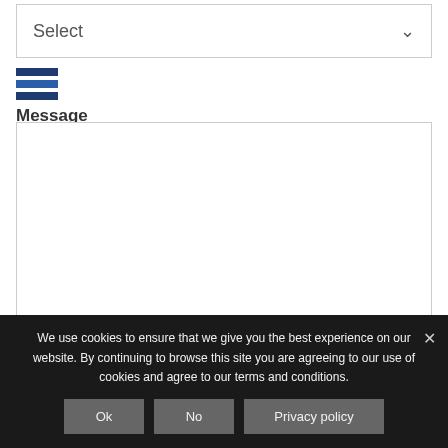[Figure (screenshot): Dropdown select box with 'Select' placeholder text and a down-arrow chevron on the right]
[Figure (infographic): Three horizontal blue bars icon above the bold label 'Message']
[Figure (screenshot): Empty white textarea input box with border]
We use cookies to ensure that we give you the best experience on our website. By continuing to browse this site you are agreeing to our use of cookies and agree to our terms and conditions.
Ok
No
Privacy policy